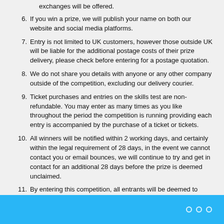exchanges will be offered.
6. If you win a prize, we will publish your name on both our website and social media platforms.
7. Entry is not limited to UK customers, however those outside UK will be liable for the additional postage costs of their prize delivery, please check before entering for a postage quotation.
8. We do not share you details with anyone or any other company outside of the competition, excluding our delivery courier.
9. Ticket purchases and entries on the skills test are non-refundable. You may enter as many times as you like throughout the period the competition is running providing each entry is accompanied by the purchase of a ticket or tickets.
10. All winners will be notified within 2 working days, and certainly within the legal requirement of 28 days, in the event we cannot contact you or email bounces, we will continue to try and get in contact for an additional 28 days before the prize is deemed unclaimed.
11. By entering this competition, all entrants will be deemed to have accepted and be bound by these terms and conditions. Futuretronix Ltd decision is final and binding in all matters relating to this competition and no correspondence shall be entered into.
○ ○ ○